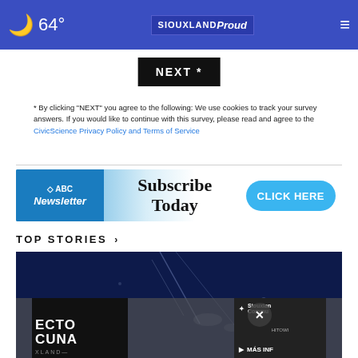64° SIOUXLAND Proud
[Figure (screenshot): NEXT * button (black background, white text)]
* By clicking "NEXT" you agree to the following: We use cookies to track your survey answers. If you would like to continue with this survey, please read and agree to the CivicScience Privacy Policy and Terms of Service
[Figure (infographic): Newsletter subscription banner: ABC News Siouxland Newsletter - Subscribe Today - CLICK HERE button]
TOP STORIES ›
[Figure (photo): Dark blue background with light streaks, partial ad overlays at bottom showing ECTO CUNA text and Siouxland Community logo with MÁS INF text]